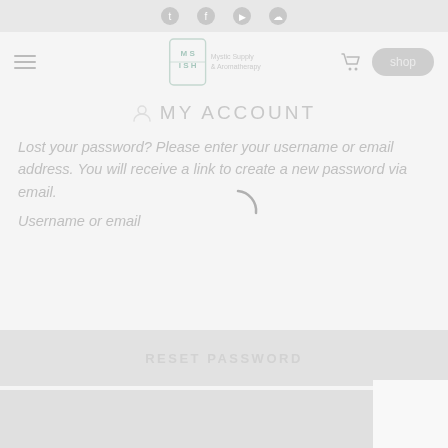Social media icons bar (Twitter, Facebook, YouTube, SoundCloud)
[Figure (screenshot): Navigation bar with hamburger menu, MISH logo, cart icon, and shop button]
MY ACCOUNT
Lost your password? Please enter your username or email address. You will receive a link to create a new password via email.
Username or email
[Figure (other): Loading spinner (circular arc)]
RESET PASSWORD